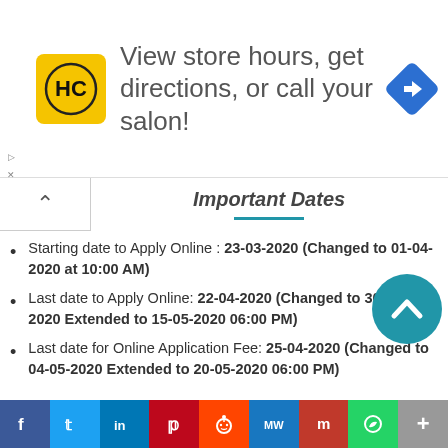[Figure (other): Advertisement banner: HC salon logo (yellow square with HC text), text 'View store hours, get directions, or call your salon!', blue diamond navigation icon]
Important Dates
Starting date to Apply Online : 23-03-2020 (Changed to 01-04-2020 at 10:00 AM)
Last date to Apply Online: 22-04-2020 (Changed to 30-04-2020 Extended to 15-05-2020 06:00 PM)
Last date for Online Application Fee: 25-04-2020 (Changed to 04-05-2020 Extended to 20-05-2020 06:00 PM)
[Figure (other): Social media share bar with icons: Facebook, Twitter, LinkedIn, Pinterest, Reddit, MeWe, Mix, WhatsApp, More]